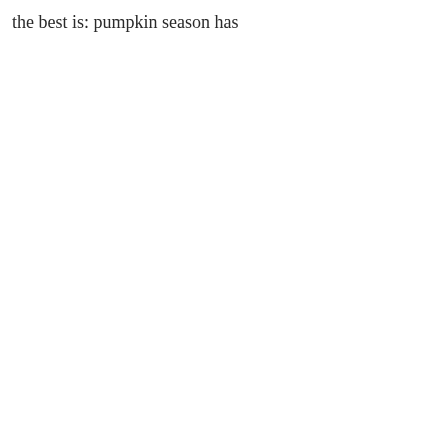the best is: pumpkin season has